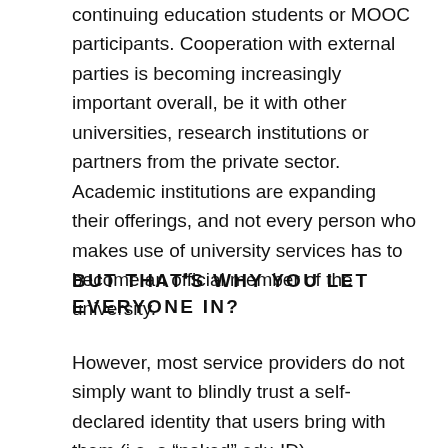continuing education students or MOOC participants. Cooperation with external parties is becoming increasingly important overall, be it with other universities, research institutions or partners from the private sector. Academic institutions are expanding their offerings, and not every person who makes use of university services has to become an official member of the university.
BUT THAT'S WHY YOU LET EVERYONE IN?
However, most service providers do not simply want to blindly trust a self-declared identity that users bring with them (i.e. a “naked” edu-ID). There are many reasons why one wants to protect